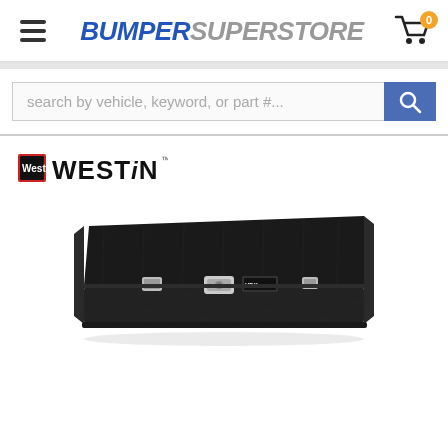BUMPER SUPERSTORE
search by vehicle, keyword, or part #...
[Figure (logo): Westin brand logo with small red/black Westin badge icon and WESTiN text]
[Figure (photo): Black diamond-plate aluminum truck bed tool box (cross-bed toolbox) with chrome latches, shown at an angle on white background]